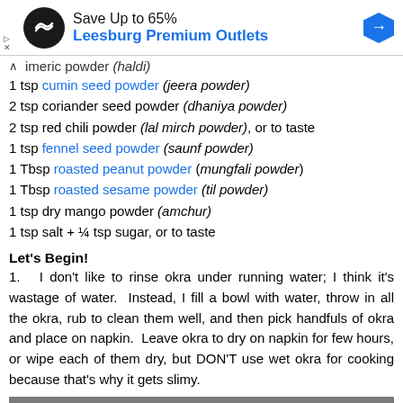[Figure (other): Advertisement banner for Leesburg Premium Outlets showing logo, save up to 65% text, and navigation icon]
imeric powder (haldi)
1 tsp cumin seed powder (jeera powder)
2 tsp coriander seed powder (dhaniya powder)
2 tsp red chili powder (lal mirch powder), or to taste
1 tsp fennel seed powder (saunf powder)
1 Tbsp roasted peanut powder (mungfali powder)
1 Tbsp roasted sesame powder (til powder)
1 tsp dry mango powder (amchur)
1 tsp salt + ¼ tsp sugar, or to taste
Let's Begin!
1.   I don't like to rinse okra under running water; I think it's wastage of water.  Instead, I fill a bowl with water, throw in all the okra, rub to clean them well, and then pick handfuls of okra and place on napkin.  Leave okra to dry on napkin for few hours, or wipe each of them dry, but DON'T use wet okra for cooking because that's why it gets slimy.
[Figure (photo): Partial photo of okra/bhindi dish at bottom of page]